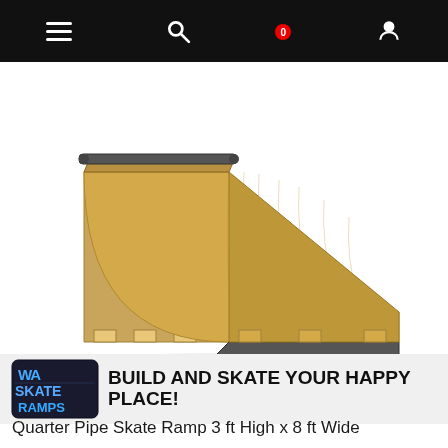Navigation bar with menu, search, cart (0), and user icons
[Figure (photo): Quarter pipe wooden skate ramp with metal coping at top and metal sheet at bottom, branded WA Skate Ramps, viewed from the front-left angle showing the curved riding surface and flat side panels with notched feet.]
[Figure (logo): WA Skate Ramps logo in blue/teal graffiti-style lettering alongside tagline: BUILD AND SKATE YOUR HAPPY PLACE!]
Quarter Pipe Skate Ramp 3 ft High x 8 ft Wide